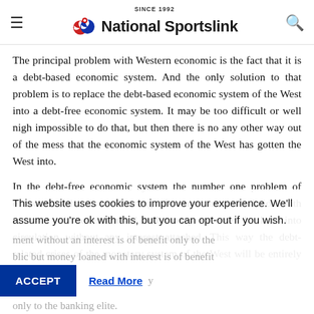SINCE 1992 National Sportslink
The principal problem with Western economic is the fact that it is a debt-based economic system. And the only solution to that problem is to replace the debt-based economic system of the West into a debt-free economic system. It may be too difficult or well nigh impossible to do that, but then there is no any other way out of the mess that the economic system of the West has gotten the West into.
In the debt-free economic system the number one problem of economics, that is the loaning of money into circulation with interest, will be eliminated and money can then be loan into circulation without any interest attached. This way the debt-related crises of the monetary system of the West will be entirely avoided.
This website uses cookies to improve your experience. We'll assume you're ok with this, but you can opt-out if you wish.
ment without an interest is of benefit only to the blic but money loaned with interest is of benefit only to the banking elite.